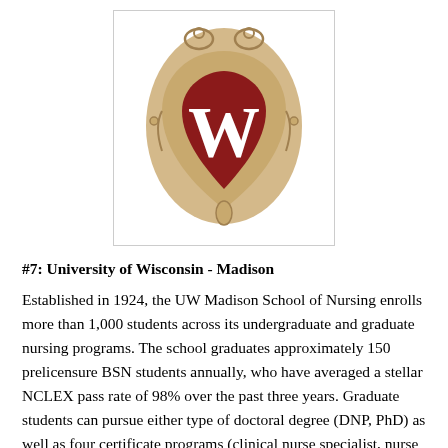[Figure (logo): University of Wisconsin-Madison crest/shield logo with a W on a red heart-shaped shield with decorative gold border]
#7: University of Wisconsin - Madison
Established in 1924, the UW Madison School of Nursing enrolls more than 1,000 students across its undergraduate and graduate nursing programs. The school graduates approximately 150 prelicensure BSN students annually, who have averaged a stellar NCLEX pass rate of 98% over the past three years. Graduate students can pursue either type of doctoral degree (DNP, PhD) as well as four certificate programs (clinical nurse specialist, nurse educator, psychiatric mental health, school nursing). The